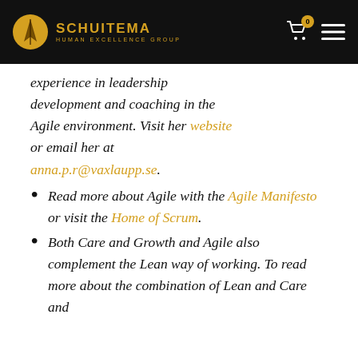SCHUITEMA HUMAN EXCELLENCE GROUP
experience in leadership development and coaching in the Agile environment. Visit her website or email her at anna.p.r@vaxlaupp.se.
Read more about Agile with the Agile Manifesto or visit the Home of Scrum.
Both Care and Growth and Agile also complement the Lean way of working. To read more about the combination of Lean and Care and